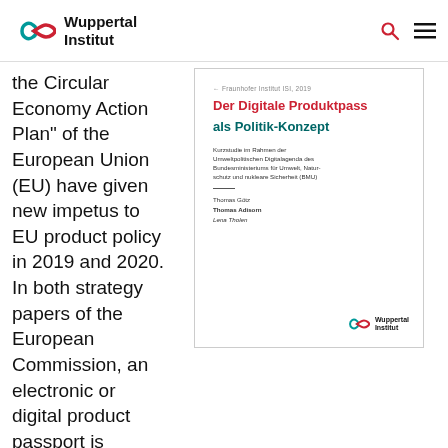Wuppertal Institut
the Circular Economy Action Plan" of the European Union (EU) have given new impetus to EU product policy in 2019 and 2020. In both strategy papers of the European Commission, an electronic or digital product passport is mentioned as an essential instrument for a climate-friendly and resource-
[Figure (illustration): Document cover page preview showing title 'Der Digitale Produktpass als Politik-Konzept' in red and teal, with subtitle text in German and author names Thomas Götz, Thomas Adisorn, Lena Tholen, and Wuppertal Institut logo at bottom right.]